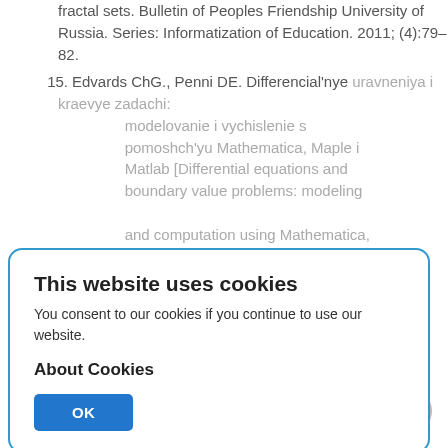fractal sets. Bulletin of Peoples Friendship University of Russia. Series: Informatization of Education. 2011; (4):79–82.
15. Edvards ChG., Penni DE. Differencial'nye uravneniya i kraevye zadachi: modelovanie i vychislenie s pomoshch'yu Mathematica, Maple i Matlab [Differential equations and boundary value problems: modeling and computation using Mathematica, Maple and Matlab]. Moscow: Vil'yams Publ.; 2008.
16. Ivashchenko AV, Gagarin AV, Stepanov SA. Cennostnyj podhod k formirovaniyu professional'no-ekologicheskoj kul'tury budushchego specialista [Value approach to the formation of professional-ecological culture of
This website uses cookies
You consent to our cookies if you continue to use our website.
About Cookies
OK